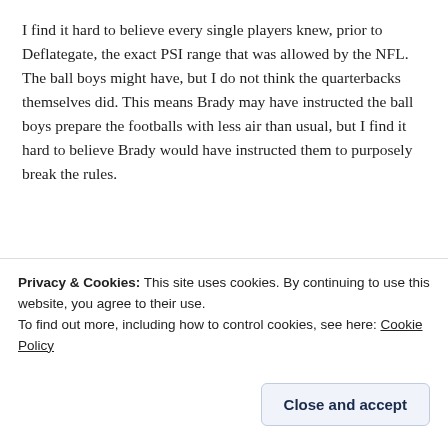I find it hard to believe every single players knew, prior to Deflategate, the exact PSI range that was allowed by the NFL. The ball boys might have, but I do not think the quarterbacks themselves did. This means Brady may have instructed the ball boys prepare the footballs with less air than usual, but I find it hard to believe Brady would have instructed them to purposely break the rules.
[Figure (other): App advertisement banner with text 'the go.' and 'GET THE APP' with WordPress icon]
Privacy & Cookies: This site uses cookies. By continuing to use this website, you agree to their use.
To find out more, including how to control cookies, see here: Cookie Policy
Close and accept